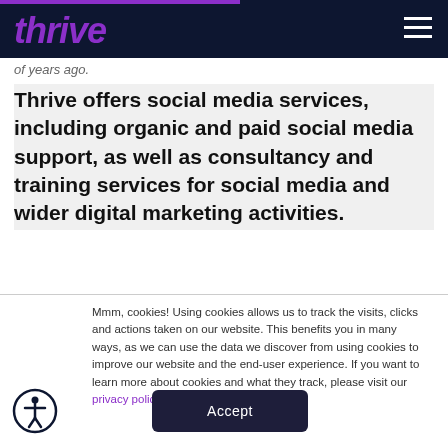thrive
of years ago.
Thrive offers social media services, including organic and paid social media support, as well as consultancy and training services for social media and wider digital marketing activities.
Mmm, cookies! Using cookies allows us to track the visits, clicks and actions taken on our website. This benefits you in many ways, as we can use the data we discover from using cookies to improve our website and the end-user experience. If you want to learn more about cookies and what they track, please visit our privacy policy.